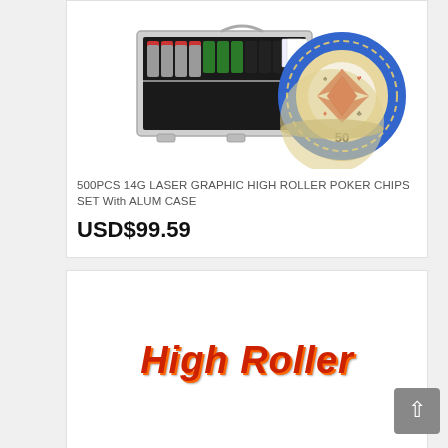[Figure (photo): Photo of 500-piece poker chip set with aluminum case and a close-up of a High Roller poker chip showing the '50' denomination with blue and cream design]
500PCS 14G LASER GRAPHIC HIGH ROLLER POKER CHIPS SET With ALUM CASE
USD$99.59
[Figure (photo): Second product card showing stylized 'High Roller' text in red/orange italic font]